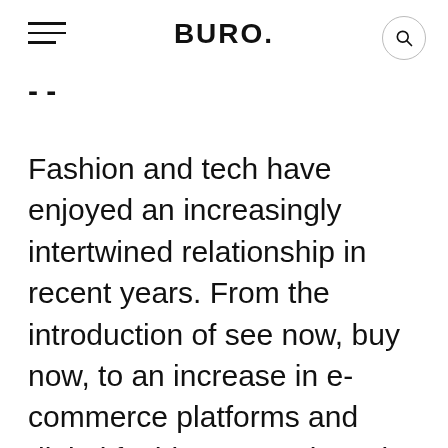BURO.
- -
Fashion and tech have enjoyed an increasingly intertwined relationship in recent years. From the introduction of see now, buy now, to an increase in e-commerce platforms and digital fashion campaigns, it makes sense that the two industries would eventually combine their powers. Now, one fashion house has taken things one step further with its new campaign.